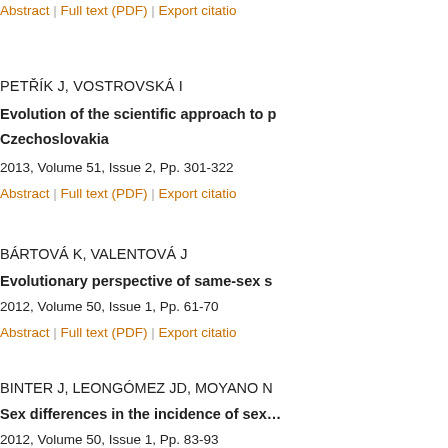Abstract | Full text (PDF) | Export citation
PETŘÍK J, VOSTROVSKÁ I
Evolution of the scientific approach to ... Czechoslovakia
2013, Volume 51, Issue 2, Pp. 301-322
Abstract | Full text (PDF) | Export citation
BÁRTOVÁ K, VALENTOVÁ J
Evolutionary perspective of same-sex s...
2012, Volume 50, Issue 1, Pp. 61-70
Abstract | Full text (PDF) | Export citation
BINTER J, LEONGÓMEZ JD, MOYANO N...
Sex differences in the incidence of sex...
2012, Volume 50, Issue 1, Pp. 83-93
Abstract | Full text (PDF) | Export citation
JELÍNEK J